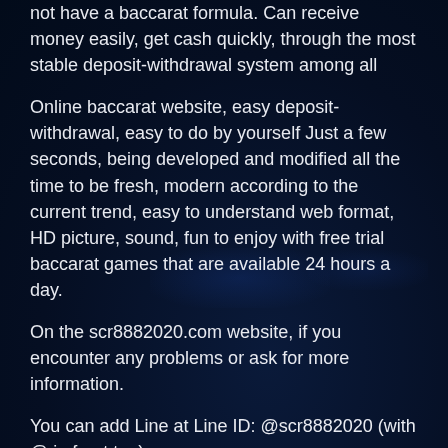not have a baccarat formula. Can receive money easily, get cash quickly, through the most stable deposit-withdrawal system among all
Online baccarat website, easy deposit-withdrawal, easy to do by yourself Just a few seconds, being developed and modified all the time to be fresh, modern according to the current trend, easy to understand web format, HD picture, sound, fun to enjoy with free trial baccarat games that are available 24 hours a day.
On the scr8882020.com website, if you encounter any problems or ask for more information.
You can add Line at Line ID: @scr8882020 (with @ in front too)
FAQ
▶ How to subscribe to Sexy Baccarat?